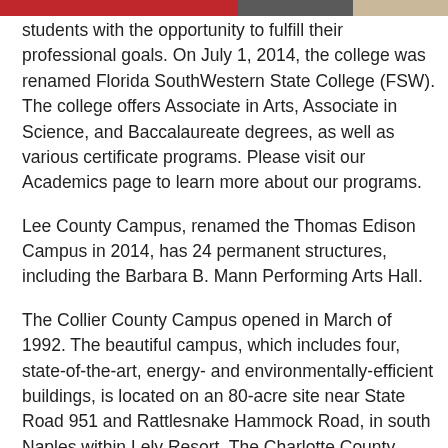students with the opportunity to fulfill their professional goals. On July 1, 2014, the college was renamed Florida SouthWestern State College (FSW). The college offers Associate in Arts, Associate in Science, and Baccalaureate degrees, as well as various certificate programs. Please visit our Academics page to learn more about our programs.
Lee County Campus, renamed the Thomas Edison Campus in 2014, has 24 permanent structures, including the Barbara B. Mann Performing Arts Hall.
The Collier County Campus opened in March of 1992. The beautiful campus, which includes four, state-of-the-art, energy- and environmentally-efficient buildings, is located on an 80-acre site near State Road 951 and Rattlesnake Hammock Road, in south Naples within Lely Resort. The Charlotte County Campus opened in 1997. Located on a